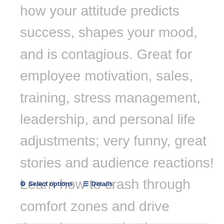how your attitude predicts success, shapes your mood, and is contagious. Great for employee motivation, sales, training, stress management, leadership, and personal life adjustments; very funny, great stories and audience reactions! Learn how to crash through comfort zones and drive through procrastinations.
Select options
Details